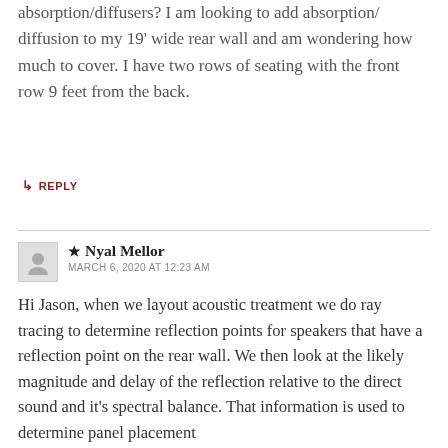absorption/diffusers? I am looking to add absorption/ diffusion to my 19' wide rear wall and am wondering how much to cover. I have two rows of seating with the front row 9 feet from the back.
↳ REPLY
★ Nyal Mellor
MARCH 6, 2020 AT 12:23 AM
Hi Jason, when we layout acoustic treatment we do ray tracing to determine reflection points for speakers that have a reflection point on the rear wall. We then look at the likely magnitude and delay of the reflection relative to the direct sound and it's spectral balance. That information is used to determine panel placement